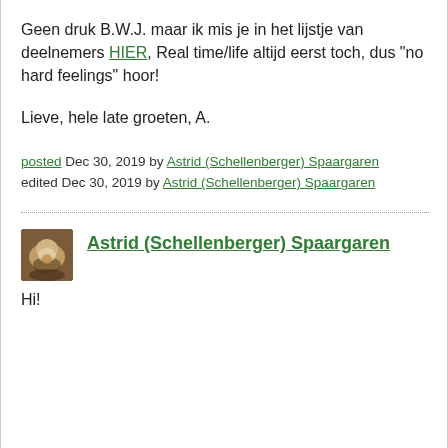Geen druk B.W.J. maar ik mis je in het lijstje van deelnemers HIER, Real time/life altijd eerst toch, dus "no hard feelings" hoor!
Lieve, hele late groeten, A.
posted Dec 30, 2019 by Astrid (Schellenberger) Spaargaren
edited Dec 30, 2019 by Astrid (Schellenberger) Spaargaren
Astrid (Schellenberger) Spaargaren
Hi!